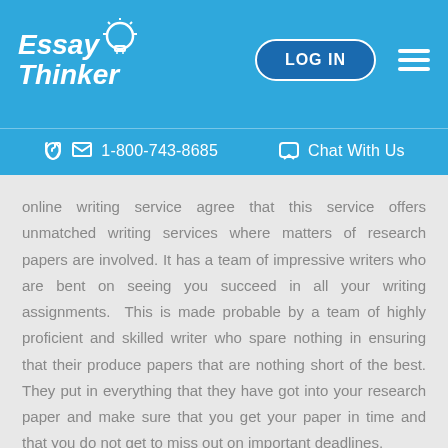[Figure (logo): Essay Thinker logo with lightbulb icon in white on blue background]
LOG IN  ☰  1-800-743-8685  Chat With Us
online writing service agree that this service offers unmatched writing services where matters of research papers are involved. It has a team of impressive writers who are bent on seeing you succeed in all your writing assignments.  This is made probable by a team of highly proficient and skilled writer who spare nothing in ensuring that their produce papers that are nothing short of the best. They put in everything that they have got into your research paper and make sure that you get your paper in time and that you do not get to miss out on important deadlines.
Research